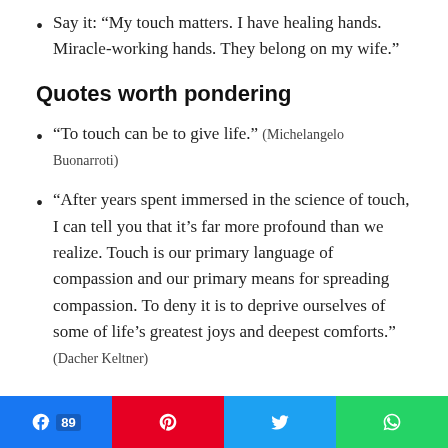Say it: “My touch matters. I have healing hands. Miracle-working hands. They belong on my wife.”
Quotes worth pondering
“To touch can be to give life.” (Michelangelo Buonarroti)
“After years spent immersed in the science of touch, I can tell you that it’s far more profound than we realize. Touch is our primary language of compassion and our primary means for spreading compassion. To deny it is to deprive ourselves of some of life’s greatest joys and deepest comforts.” (Dacher Keltner)
[Figure (other): Social share buttons bar: Facebook (89), Pinterest, Twitter, WhatsApp]